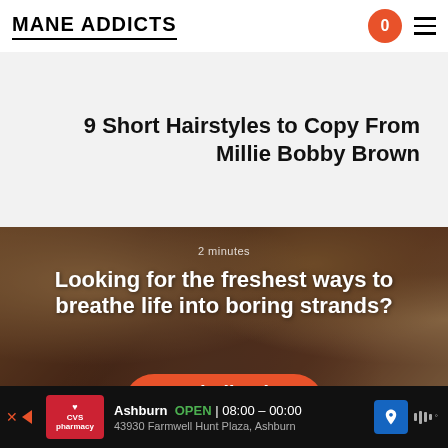MANE ADDICTS
9 Short Hairstyles to Copy From Millie Bobby Brown
[Figure (photo): Close-up of a person's face with eyes closed, touching their face, with dark overlay and article headline text overlay reading '2 minutes / Looking for the freshest ways to breathe life into boring strands?' and a red button partially visible at the bottom]
2 minutes
Looking for the freshest ways to breathe life into boring strands?
Ashburn  OPEN  08:00 – 00:00  43930 Farmwell Hunt Plaza, Ashburn